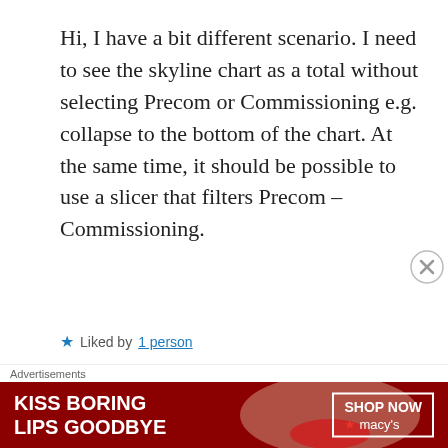Hi, I have a bit different scenario. I need to see the skyline chart as a total without selecting Precom or Commissioning e.g. collapse to the bottom of the chart. At the same time, it should be possible to use a slicer that filters Precom – Commissioning.
★ Liked by 1 person
Reply
mim
[Figure (infographic): Macy's advertisement banner: red background with woman's face, text 'KISS BORING LIPS GOODBYE' and 'SHOP NOW' button with Macy's star logo]